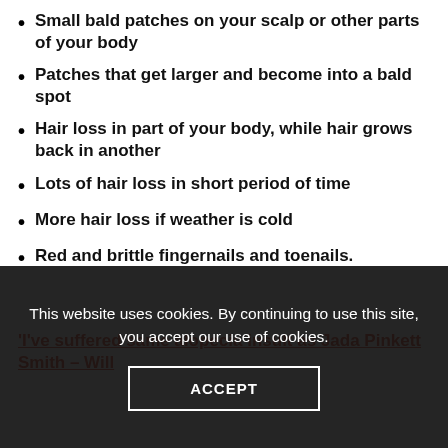Small bald patches on your scalp or other parts of your body
Patches that get larger and become into a bald spot
Hair loss in part of your body, while hair grows back in another
Lots of hair loss in short period of time
More hair loss if weather is cold
Red and brittle fingernails and toenails.
'I've suffered same alopecia insult as Jada Pinkett Smith – Will
This website uses cookies. By continuing to use this site, you accept our use of cookies.